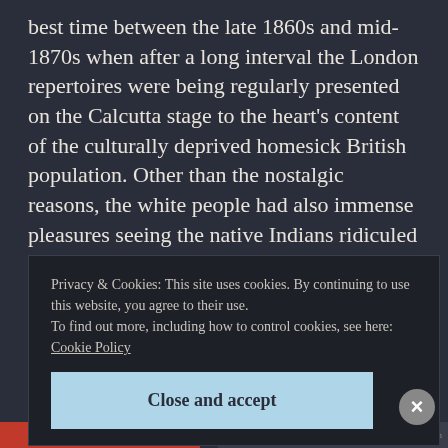best time between the late 1860s and mid-1870s when after a long interval the London repertoires were being regularly presented on the Calcutta stage to the heart's content of the culturally deprived homesick British population. Other than the nostalgic reasons, the white people had also immense pleasures seeing the native Indians ridiculed in burlesque and pantomime shows. Viewed from the twenty-first century, the content of Lewis's repertoire seems often
Privacy & Cookies: This site uses cookies. By continuing to use this website, you agree to their use.
To find out more, including how to control cookies, see here: Cookie Policy
Close and accept